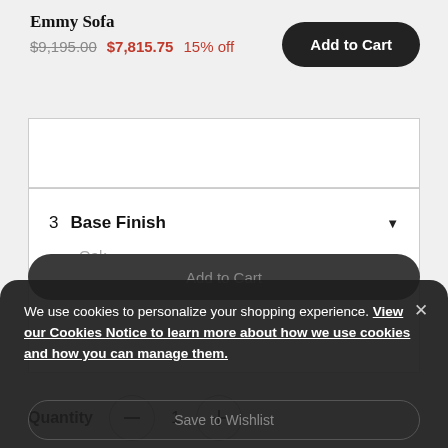Emmy Sofa
$9,195.00  $7,815.75  15% off
Add to Cart
3 Base Finish
Oak
Quantity  1
Available to ship in: 16 weeks
We use cookies to personalize your shopping experience. View our Cookies Notice to learn more about how we use cookies and how you can manage them.